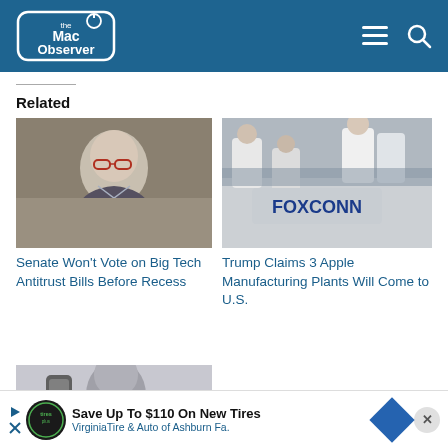The Mac Observer
Related
[Figure (photo): Photo of an elderly man with glasses]
Senate Won't Vote on Big Tech Antitrust Bills Before Recess
[Figure (photo): Photo of Foxconn factory workers with a Foxconn sign visible]
Trump Claims 3 Apple Manufacturing Plants Will Come to U.S.
[Figure (photo): Grayscale photo of a person holding a smartphone]
Russia F... Compan...
[Figure (screenshot): Advertisement banner: Save Up To $110 On New Tires — VirginiaTire & Auto of Ashburn Fa.]